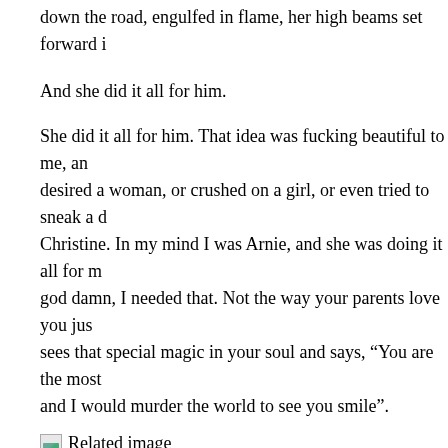down the road, engulfed in flame, her high beams set forward i
And she did it all for him.
She did it all for him. That idea was fucking beautiful to me, and desired a woman, or crushed on a girl, or even tried to sneak a d Christine. In my mind I was Arnie, and she was doing it all for m god damn, I needed that. Not the way your parents love you jus sees that special magic in your soul and says, "You are the most and I would murder the world to see you smile".
[Figure (photo): Related image placeholder with broken image icon]
Christine taught me what love is, beyond my mother and father. to show him what she can do, and she trusts in him enough to re belief in him transforms him from a door mat to a man, and his The way she is willing to rip herself apart to cut down anyone w mad, wild jealousy, that I would experience later in life before t things.